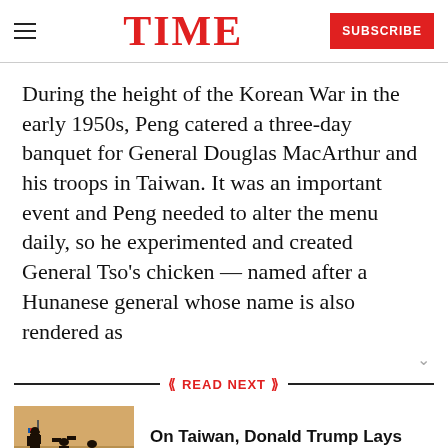TIME  SUBSCRIBE
During the height of the Korean War in the early 1950s, Peng catered a three-day banquet for General Douglas MacArthur and his troops in Taiwan. It was an important event and Peng needed to alter the menu daily, so he experimented and created General Tso’s chicken — named after a Hunanese general whose name is also rendered as
READ NEXT
[Figure (photo): Silhouettes of people holding a flag against an orange/tan background]
On Taiwan, Donald Trump Lays Down the Gauntlet to China